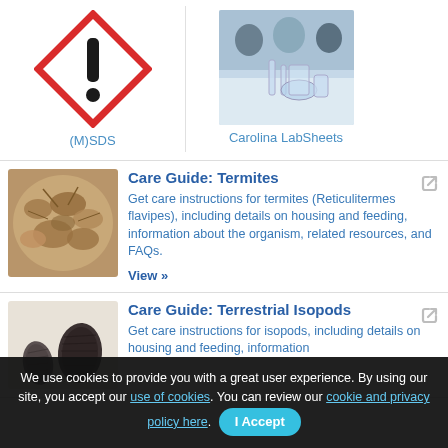[Figure (infographic): GHS hazard pictogram: red diamond with exclamation mark on white background]
(M)SDS
[Figure (photo): Students in a laboratory setting with glassware]
Carolina LabSheets
[Figure (photo): Close-up photo of termites (Reticulitermes flavipes)]
Care Guide: Termites
Get care instructions for termites (Reticulitermes flavipes), including details on housing and feeding, information about the organism, related resources, and FAQs.
View »
[Figure (photo): Close-up photo of terrestrial isopods (pill bugs/roly-polies)]
Care Guide: Terrestrial Isopods
Get care instructions for isopods, including details on housing and feeding, information
We use cookies to provide you with a great user experience. By using our site, you accept our use of cookies. You can review our cookie and privacy policy here.